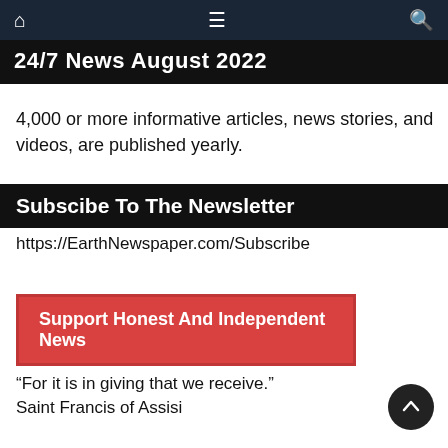24/7 News August 2022
4,000 or more informative articles, news stories, and videos, are published yearly.
Subscibe To The Newsletter
https://EarthNewspaper.com/Subscribe
Support Honest And Independent News
“For it is in giving that we receive.”
Saint Francis of Assisi